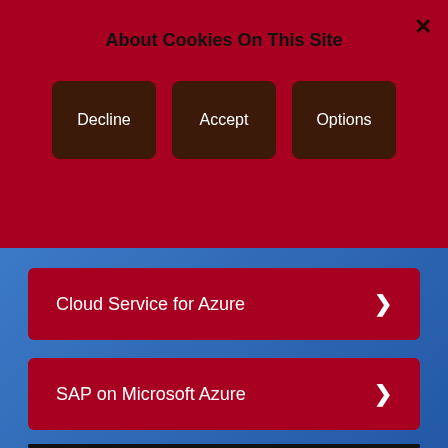About Cookies On This Site
Decline
Accept
Options
Cloud Service for Azure
SAP on Microsoft Azure
[Figure (screenshot): YouTube video thumbnail showing 'Co-creating your Microsoft cloud' with Fujitsu branding, colorful smoke/woman background, and YouTube play button overlay]